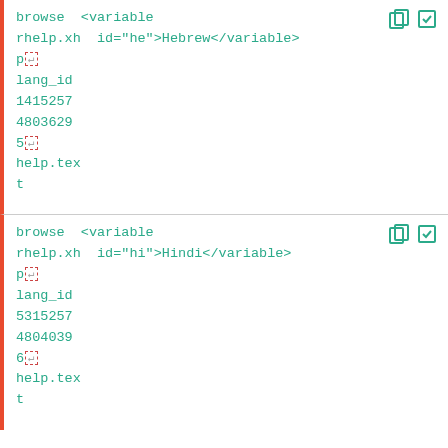browse  <variable
rhelp.xh  id="he">Hebrew</variable>
p↵
lang_id
1415257
4803629
5↵
help.tex
t
browse  <variable
rhelp.xh  id="hi">Hindi</variable>
p↵
lang_id
5315257
4804039
6↵
help.tex
t